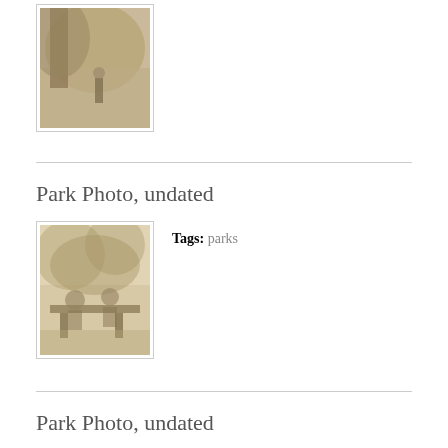[Figure (photo): Vintage sepia-toned photograph of a park scene with large tree, partially visible at top of page]
Park Photo, undated
[Figure (photo): Vintage sepia-toned photograph of a park scene with people sitting at picnic tables among trees]
Tags: parks
Park Photo, undated
[Figure (photo): Vintage sepia-toned photograph of a park scene, partially visible at bottom of page]
Tags: parks